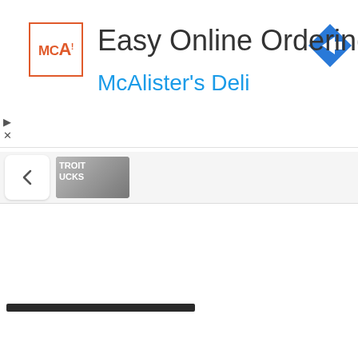[Figure (screenshot): McAlister's Deli advertisement banner with logo, title 'Easy Online Ordering', subtitle 'McAlister's Deli', navigation icon, and close/skip controls]
[Figure (screenshot): Browser tab bar showing a back chevron button and a thumbnail of a webpage with text 'TROIT UCKS']
[Figure (other): Dark horizontal separator bar on white background]